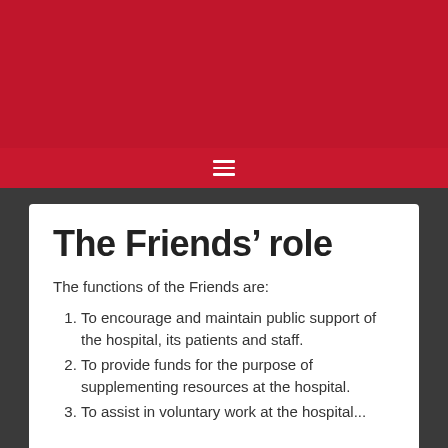[Figure (other): Red banner header area at top of page]
☰ (hamburger menu icon)
The Friends' role
The functions of the Friends are:
To encourage and maintain public support of the hospital, its patients and staff.
To provide funds for the purpose of supplementing resources at the hospital.
To assist in voluntary work at the hospital...